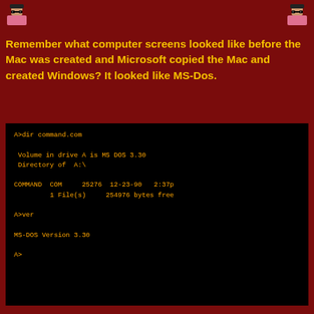[Figure (illustration): Two pixel-art avatar icons, one on the left and one on the right, at the top of the page]
Remember what computer screens looked like before the Mac was created and Microsoft copied the Mac and created Windows? It looked like MS-Dos.
[Figure (screenshot): Black MS-DOS terminal screen showing: A>dir command.com, Volume in drive A is MS DOS 3.30, Directory of A:\, COMMAND COM 25276 12-23-90 2:37p, 1 File(s) 254976 bytes free, A>ver, MS-DOS Version 3.30, A>]